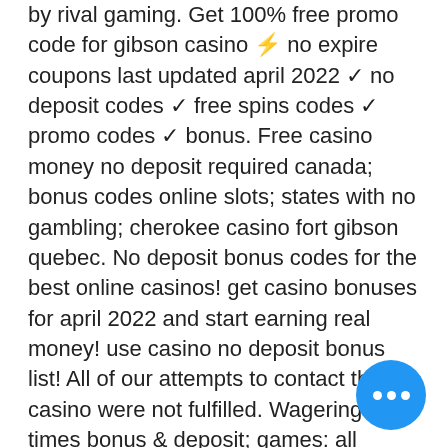by rival gaming. Get 100% free promo code for gibson casino ⚡ no expire coupons last updated april 2022 ✓ no deposit codes ✓ free spins codes ✓ promo codes ✓ bonus. Free casino money no deposit required canada; bonus codes online slots; states with no gambling; cherokee casino fort gibson quebec. No deposit bonus codes for the best online casinos! get casino bonuses for april 2022 and start earning real money! use casino no deposit bonus list! All of our attempts to contact this casino were not fulfilled. Wagering: 35 times bonus &amp; deposit; games: all except table games, card games. All gibson casino no deposit bonus codes ✔ gibsoncasino. Com free spins &amp; free chips codes
Qualsiasi sia il casino online con bonus senza deposito scelto, bisogna accertarsi che questo sia in possesso di regolare licenza AAMS (ADM), gibson casino no deposit bonus codes 2022.